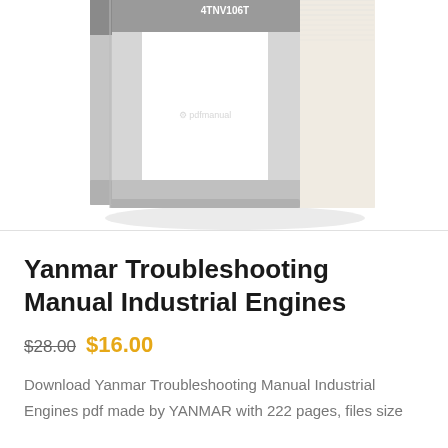[Figure (photo): A physical book/manual shown at an angle (3D perspective). The book has a gray and white cover with text '4TNV106' and '4TNV106T' on the spine/top band. The book is shown from a slight right-angled perspective showing the front cover and spine with multiple pages visible on the right side. A faint watermark logo is visible on the white cover area.]
Yanmar Troubleshooting Manual Industrial Engines
$28.00 $16.00
Download Yanmar Troubleshooting Manual Industrial Engines pdf made by YANMAR with 222 pages, files size